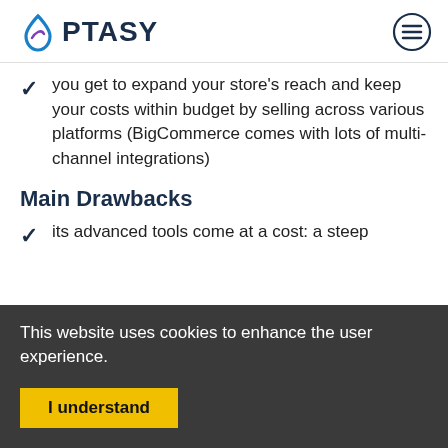OPTASY
you get to expand your store's reach and keep your costs within budget by selling across various platforms (BigCommerce comes with lots of multi-channel integrations)
Main Drawbacks
its advanced tools come at a cost: a steep
This website uses cookies to enhance the user experience.
I understand